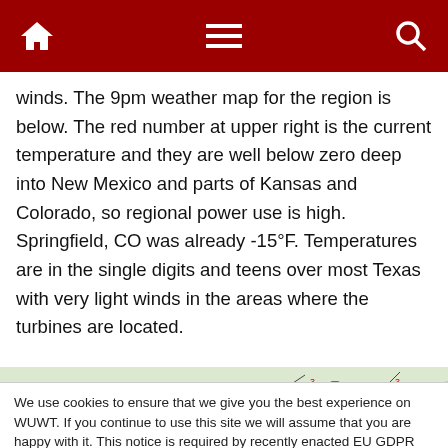Navigation bar with home, menu, and search icons
winds. The 9pm weather map for the region is below. The red number at upper right is the current temperature and they are well below zero deep into New Mexico and parts of Kansas and Colorado, so regional power use is high. Springfield, CO was already -15°F. Temperatures are in the single digits and teens over most Texas with very light winds in the areas where the turbines are located.
[Figure (other): Weather map showing temperature readings with red and green numbers across a regional map]
We use cookies to ensure that we give you the best experience on WUWT. If you continue to use this site we will assume that you are happy with it. This notice is required by recently enacted EU GDPR rules, and since WUWT is a globally read website, we need to keep the bureaucrats off our case! Cookie Policy
[Figure (other): Bottom weather map strip showing more temperature readings]